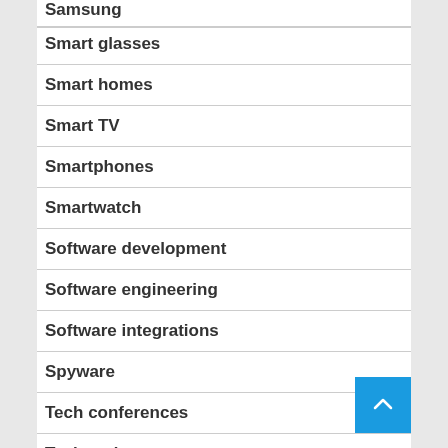Samsung
Smart glasses
Smart homes
Smart TV
Smartphones
Smartwatch
Software development
Software engineering
Software integrations
Spyware
Tech conferences
Tech gadgets